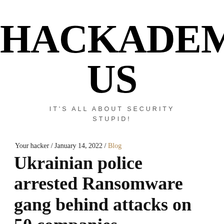HACKADEMICUS
IT'S ALL ABOUT SECURITY STUPID!
Your hacker / January 14, 2022 / Blog
Ukrainian police arrested Ransomware gang behind attacks on 50 companies